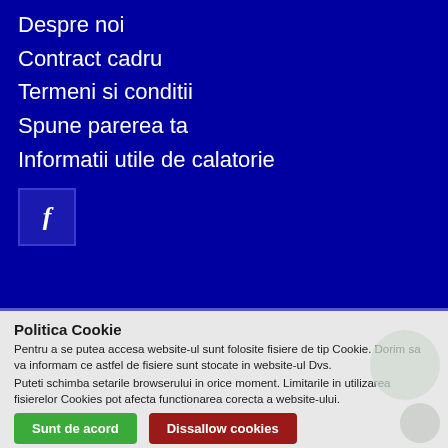Despre noi
Contract cadru
Termeni si conditii
Spune parerea ta
Informatii utile de calatorie
[Figure (logo): Facebook logo button (f icon on dark blue square background)]
Politica Cookie
Pentru a se putea accesa website-ul sunt folosite fisiere de tip Cookie. Dorim sa va informam ce astfel de fisiere sunt stocate in website-ul Dvs.
Puteti schimba setarile browserului in orice moment. Limitarile in utilizarea fisierelor Cookies pot afecta functionarea corecta a website-ului.
Sunt de acord   Dissallow cookies